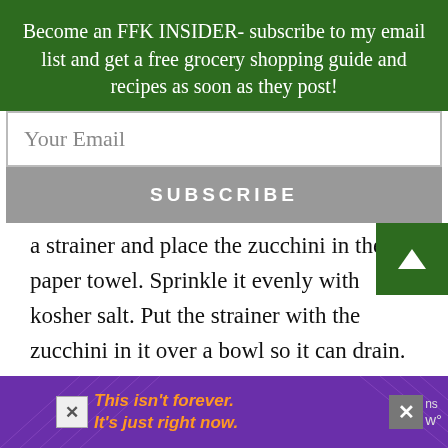Become an FFK INSIDER- subscribe to my email list and get a free grocery shopping guide and recipes as soon as they post!
Your Email
SUBSCRIBE
a strainer and place the zucchini in the paper towel. Sprinkle it evenly with kosher salt. Put the strainer with the zucchini in it over a bowl so it can drain.
2. On top of the zucchini- set something
This isn't forever. It's just right now.